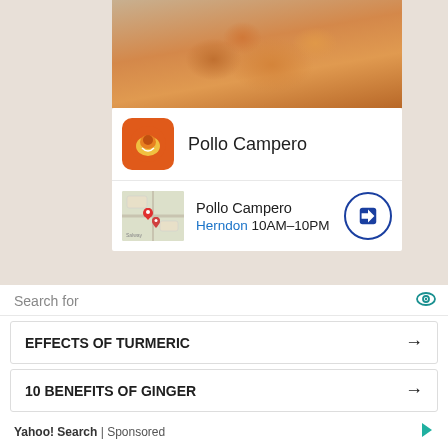[Figure (photo): Food photo showing fried chicken pieces on a white plate with dipping sauce, cropped from top]
Pollo Campero
Pollo Campero
Herndon 10AM–10PM
Follow Us
[Figure (infographic): Social media icons: Facebook, Twitter, Instagram]
Search for
EFFECTS OF TURMERIC →
10 BENEFITS OF GINGER →
Yahoo! Search | Sponsored